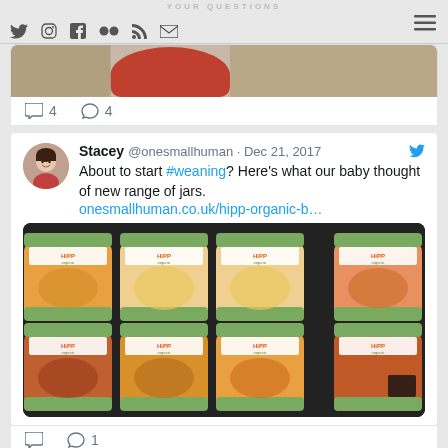YOUR QUESTIONS
[Figure (screenshot): Social media icons: Twitter, Instagram, Facebook, Flickr, RSS, Email, and hamburger menu]
[Figure (photo): Partial image of a child visible at top of page]
4  4
[Figure (screenshot): Tweet by Stacey @onesmallhuman Dec 21, 2017: About to start #weaning? Here's what our baby thought of new range of jars. onesmallhuman.co.uk/hipp-organic-b... with photo of 8 HiPP Organic baby food jars]
1